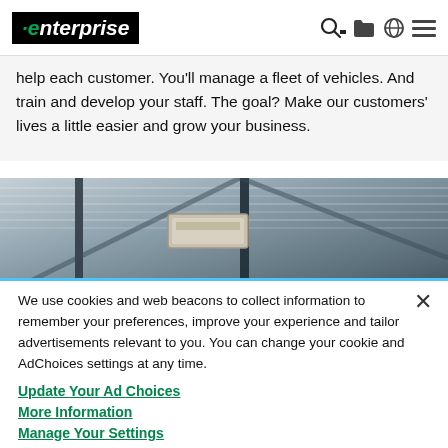enterprise [logo] navigation icons
help each customer. You'll manage a fleet of vehicles. And train and develop your staff. The goal? Make our customers' lives a little easier and grow your business.
[Figure (photo): Interior ceiling of a parking garage or automotive facility showing corrugated metal roof panels, steel beams, and a duct or light fixture.]
We use cookies and web beacons to collect information to remember your preferences, improve your experience and tailor advertisements relevant to you. You can change your cookie and AdChoices settings at any time. Update Your Ad Choices More information Manage Your Settings